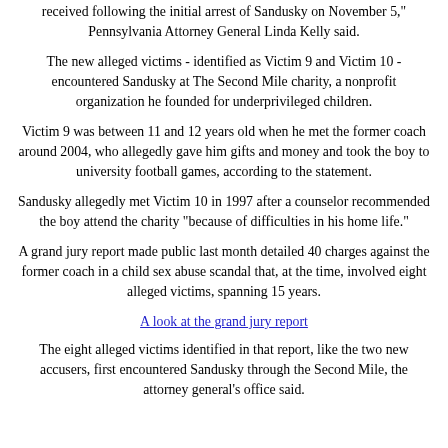received following the initial arrest of Sandusky on November 5," Pennsylvania Attorney General Linda Kelly said.
The new alleged victims - identified as Victim 9 and Victim 10 - encountered Sandusky at The Second Mile charity, a nonprofit organization he founded for underprivileged children.
Victim 9 was between 11 and 12 years old when he met the former coach around 2004, who allegedly gave him gifts and money and took the boy to university football games, according to the statement.
Sandusky allegedly met Victim 10 in 1997 after a counselor recommended the boy attend the charity "because of difficulties in his home life."
A grand jury report made public last month detailed 40 charges against the former coach in a child sex abuse scandal that, at the time, involved eight alleged victims, spanning 15 years.
A look at the grand jury report
The eight alleged victims identified in that report, like the two new accusers, first encountered Sandusky through the Second Mile, the attorney general's office said.